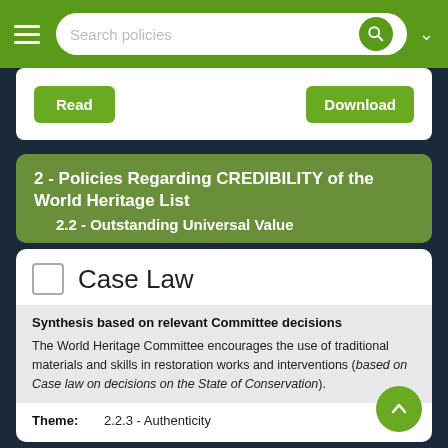Search policies
Read    Download
2 - Policies Regarding CREDIBILITY of the World Heritage List
2.2 - Outstanding Universal Value
Case Law
Synthesis based on relevant Committee decisions

The World Heritage Committee encourages the use of traditional materials and skills in restoration works and interventions (based on Case law on decisions on the State of Conservation).
Theme:    2.2.3 - Authenticity